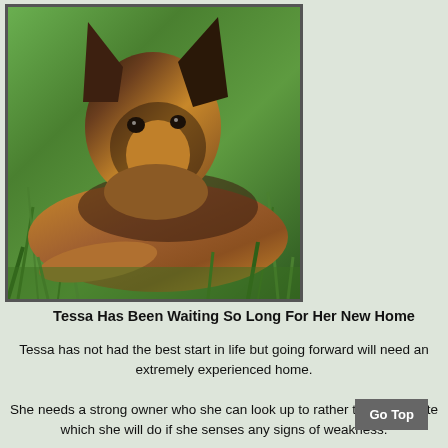[Figure (photo): A German Shepherd dog lying on green grass, looking at the camera with mouth slightly open. The dog has the typical tan and black coloring of the breed.]
Tessa Has Been Waiting So Long For Her New Home
Tessa has not had the best start in life but going forward will need an extremely experienced home.
She needs a strong owner who she can look up to rather than dominate which she will do if she senses any signs of weakness.